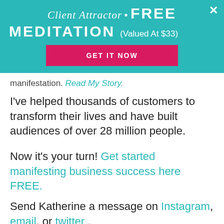[Figure (screenshot): Teal banner overlay with 'Client Attractor • FREE MEDITATION (Valued At $33)' header, a pink 'GET IT NOW' button, and a close X button in the top right]
manifestation. Read My Story.
I've helped thousands of customers to transform their lives and have built audiences of over 28 million people.
Now it's your turn! Get started manifesting business success here FREE.
Send Katherine a message on Instagram, email, or twitter .